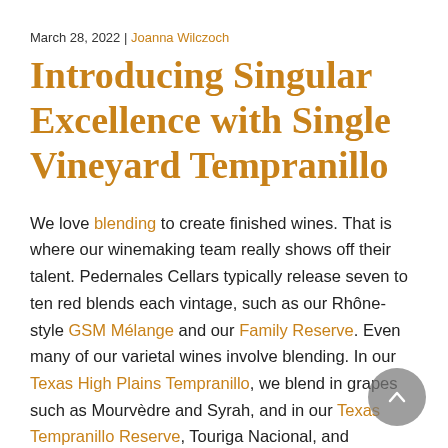March 28, 2022 | Joanna Wilczoch
Introducing Singular Excellence with Single Vineyard Tempranillo
We love blending to create finished wines. That is where our winemaking team really shows off their talent. Pedernales Cellars typically release seven to ten red blends each vintage, such as our Rhône-style GSM Mélange and our Family Reserve. Even many of our varietal wines involve blending. In our Texas High Plains Tempranillo, we blend in grapes such as Mourvèdre and Syrah, and in our Texas Tempranillo Reserve, Touriga Nacional, and Graciano.